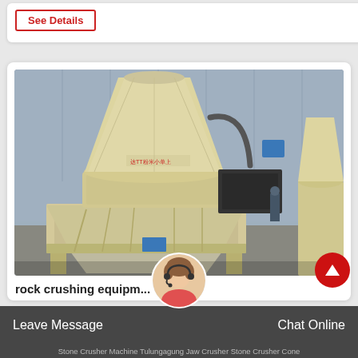See Details
[Figure (photo): Large industrial cone/spring cone crusher machine photographed inside a factory warehouse. The machine is cream/beige colored, with a large conical top section, a circular middle section, and a hopper base on a steel frame. A second similar machine is partially visible on the right. The background shows a corrugated metal industrial building.]
rock crushing equipm... ako
Leave Message
Chat Online
Stone Crusher Machine Tulungagung Jaw Crusher  Stone Crusher Cone